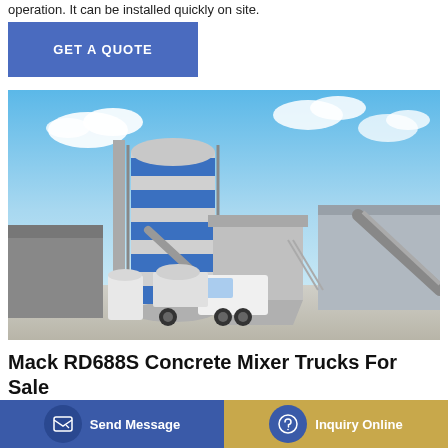operation. It can be installed quickly on site.
GET A QUOTE
[Figure (photo): Industrial concrete batching plant with large blue-and-white cylindrical silos, conveyor belts, and a white concrete mixer truck parked in front. Blue sky with clouds in background.]
Mack RD688S Concrete Mixer Trucks For Sale
1998 mack rd688s concrete mixer truck MOTOR: MACK E7 ... O AIR ... RAKE:
Send Message
Inquiry Online